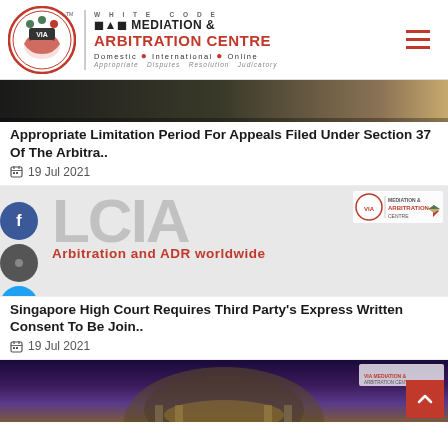WHITE CODE VIA MEDIATION & ARBITRATION CENTRE — Domestic • International • Online — Appropriate Disputes Resolution Judicatory
[Figure (photo): Dark thumbnail strip showing golden/brown gradient — article hero image for Arbitration limitation period article]
Appropriate Limitation Period For Appeals Filed Under Section 37 Of The Arbitra..
19 Jul 2021
[Figure (photo): LCIA logo — Arbitration and ADR worldwide — with social share icons (Facebook, Twitter, Google+) on left and watermark logo top right]
Singapore High Court Requires Third Party's Express Written Consent To Be Join..
19 Jul 2021
[Figure (photo): Classical domed building (court or government building) at dusk with purple/golden sky, watermark logo top right, back-to-top red button bottom right]